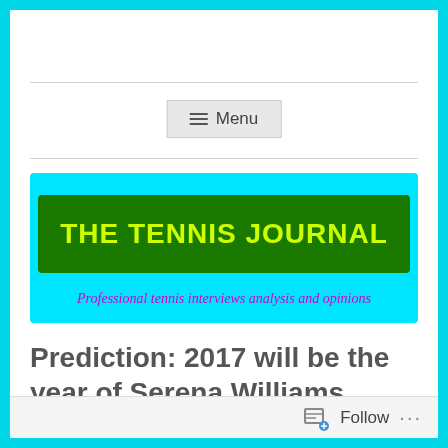≡ Menu
[Figure (logo): The Tennis Journal logo: cyan background with dark green banner containing yellow-green bold text 'THE TENNIS JOURNAL' and purple italic subtitle 'Professional tennis interviews analysis and opinions']
Prediction: 2017 will be the year of Serena Williams
Follow